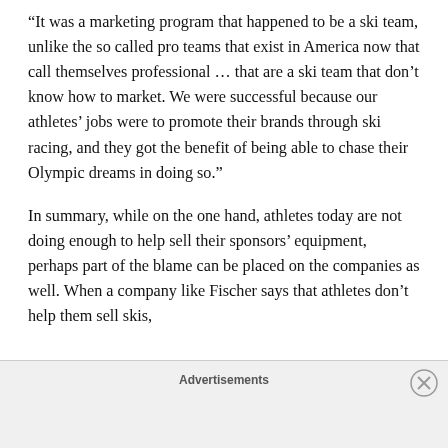“It was a marketing program that happened to be a ski team, unlike the so called pro teams that exist in America now that call themselves professional … that are a ski team that don’t know how to market. We were successful because our athletes’ jobs were to promote their brands through ski racing, and they got the benefit of being able to chase their Olympic dreams in doing so.”
In summary, while on the one hand, athletes today are not doing enough to help sell their sponsors’ equipment, perhaps part of the blame can be placed on the companies as well. When a company like Fischer says that athletes don’t help them sell skis,
Advertisements